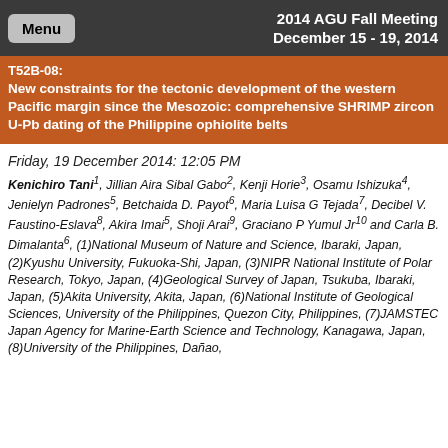2014 AGU Fall Meeting
December 15 - 19, 2014
T52B-08: New constraints for the tectonic development of the western Pacific margin since the Mesozoic: comprehensive SHRIMP zircon U-Pb dating of the Philippine ophiolite belts
Friday, 19 December 2014: 12:05 PM
Kenichiro Tani1, Jillian Aira Sibal Gabo2, Kenji Horie3, Osamu Ishizuka4, Jenielyn Padrones5, Betchaida D. Payot6, Maria Luisa G Tejada7, Decibel V. Faustino-Eslava8, Akira Imai5, Shoji Arai9, Graciano P Yumul Jr10 and Carla B. Dimalanta6, (1)National Museum of Nature and Science, Ibaraki, Japan, (2)Kyushu University, Fukuoka-Shi, Japan, (3)NIPR National Institute of Polar Research, Tokyo, Japan, (4)Geological Survey of Japan, Tsukuba, Ibaraki, Japan, (5)Akita University, Akita, Japan, (6)National Institute of Geological Sciences, University of the Philippines, Quezon City, Philippines, (7)JAMSTEC Japan Agency for Marine-Earth Science and Technology, Kanagawa, Japan, (8)University of the Philippines, Dañao,